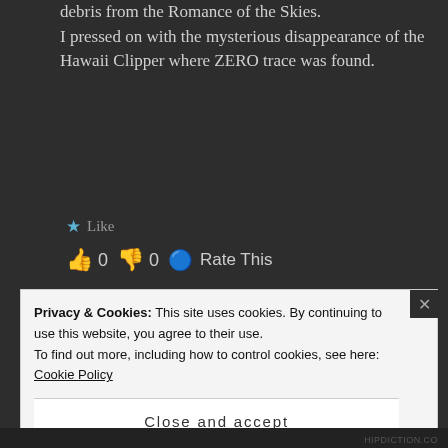debris from the Romance of the Skies. I pressed on with the mysterious disappearance of the Hawaii Clipper where ZERO trace was found.
★ Like
👍 0 👎 0 🔵 Rate This
[Figure (illustration): Circular avatar with pink and white geometric/quilt pattern design on dark background]
LEE SHERMAN says:
January 7, 2013 at 2:15 AM
↵ Reply
I was thrilled to see my contributed
Privacy & Cookies: This site uses cookies. By continuing to use this website, you agree to their use.
To find out more, including how to control cookies, see here: Cookie Policy
Close and accept